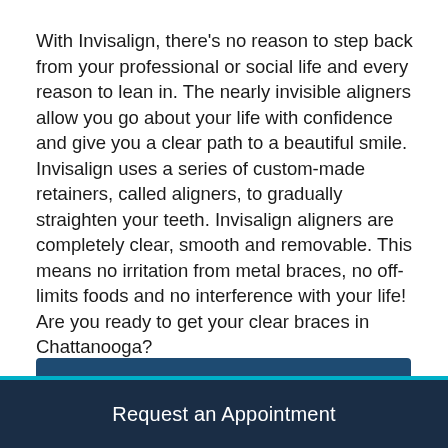With Invisalign, there's no reason to step back from your professional or social life and every reason to lean in. The nearly invisible aligners allow you go about your life with confidence and give you a clear path to a beautiful smile. Invisalign uses a series of custom-made retainers, called aligners, to gradually straighten your teeth. Invisalign aligners are completely clear, smooth and removable. This means no irritation from metal braces, no off-limits foods and no interference with your life! Are you ready to get your clear braces in Chattanooga?
Request an Appointment